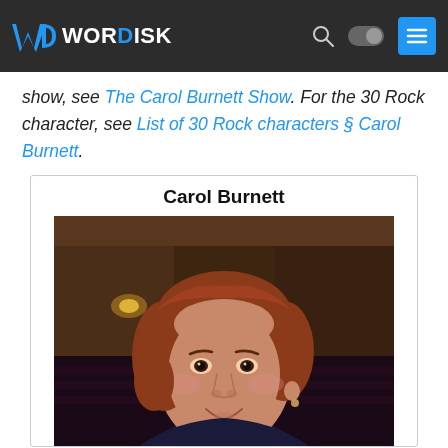WORDISK
show, see The Carol Burnett Show. For the 30 Rock character, see List of 30 Rock characters § Carol Burnett.
Carol Burnett
[Figure (photo): Photo of Carol Burnett, a woman with short reddish-brown hair, smiling, taken in what appears to be a theater setting with warm lighting in the background.]